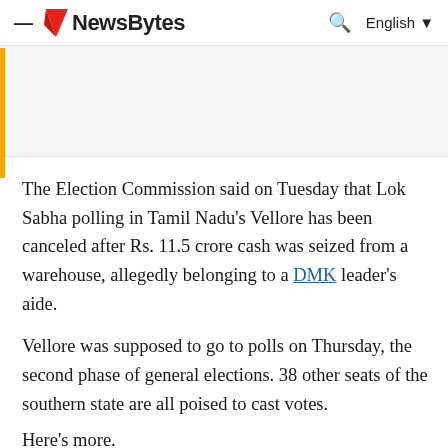NewsByte — English
The Election Commission said on Tuesday that Lok Sabha polling in Tamil Nadu's Vellore has been canceled after Rs. 11.5 crore cash was seized from a warehouse, allegedly belonging to a DMK leader's aide.
Vellore was supposed to go to polls on Thursday, the second phase of general elections. 38 other seats of the southern state are all poised to cast votes.
Here's more.
Plea
President Kovind accepted EC's plea of canceling polls
Earlier, EC had written to President Ram Nath Kovind with a plea to cancel polling in Vellore. The decision was taken after President Kovind accepted the request...